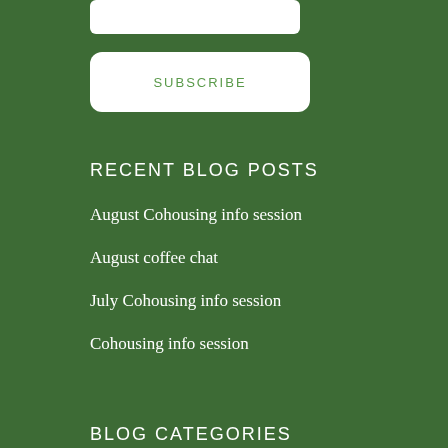[input field]
SUBSCRIBE
RECENT BLOG POSTS
August Cohousing info session
August coffee chat
July Cohousing info session
Cohousing info session
BLOG CATEGORIES